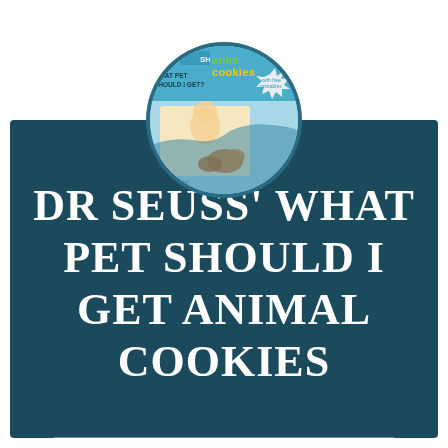[Figure (illustration): Circular book cover image for Dr. Seuss' What Pet Should I Get, showing animal cookies text in yellow/green on teal background, with cartoon characters and cookies visible, along with 'with free printables' text.]
DR SEUSS' WHAT PET SHOULD I GET ANIMAL COOKIES